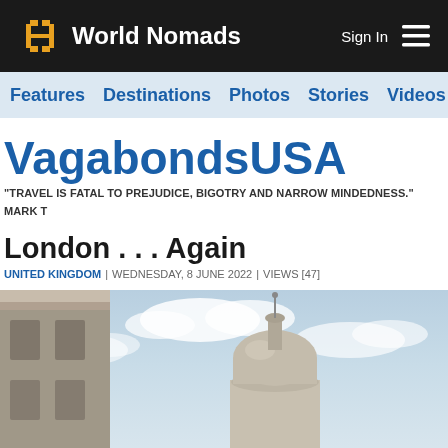World Nomads | Sign In
Features | Destinations | Photos | Stories | Videos | Ta...
VagabondsUSA
"TRAVEL IS FATAL TO PREJUDICE, BIGOTRY AND NARROW MINDEDNESS." MARK T
London . . . Again
UNITED KINGDOM | WEDNESDAY, 8 JUNE 2022 | VIEWS [47]
[Figure (photo): Low-angle photo of a classical stone building cornice on the left and a domed building (likely a London landmark) against a partly cloudy blue sky in the background]